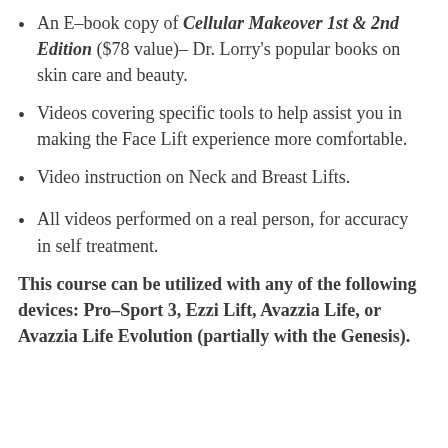An E-book copy of Cellular Makeover 1st & 2nd Edition ($78 value)– Dr. Lorry's popular books on skin care and beauty.
Videos covering specific tools to help assist you in making the Face Lift experience more comfortable.
Video instruction on Neck and Breast Lifts.
All videos performed on a real person, for accuracy in self treatment.
This course can be utilized with any of the following devices: Pro-Sport 3, Ezzi Lift, Avazzia Life, or Avazzia Life Evolution (partially with the Genesis).